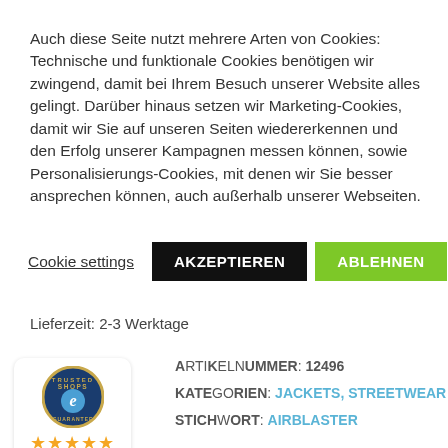Auch diese Seite nutzt mehrere Arten von Cookies: Technische und funktionale Cookies benötigen wir zwingend, damit bei Ihrem Besuch unserer Website alles gelingt. Darüber hinaus setzen wir Marketing-Cookies, damit wir Sie auf unseren Seiten wiedererkennen und den Erfolg unserer Kampagnen messen können, sowie Personalisierungs-Cookies, mit denen wir Sie besser ansprechen können, auch außerhalb unserer Webseiten.
Cookie settings | AKZEPTIEREN | ABLEHNEN
Lieferzeit: 2-3 Werktage
ARTIKELNUMMER: 12496
KATEGORIEN: JACKETS, STREETWEAR
STICHWORT: AIRBLASTER
[Figure (logo): Trusted Shops e-commerce guarantee badge with 5 gold stars and score 5,00]